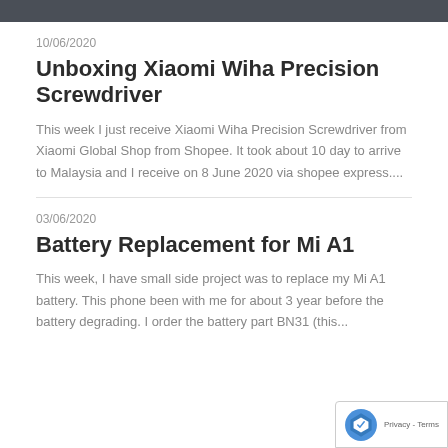10/06/2020
Unboxing Xiaomi Wiha Precision Screwdriver
This week I just receive Xiaomi Wiha Precision Screwdriver from Xiaomi Global Shop from Shopee. It took about 10 day to arrive to Malaysia and I receive on 8 June 2020 via shopee express....
03/06/2020
Battery Replacement for Mi A1
This week, I have small side project was to replace my Mi A1 battery. This phone been with me for about 3 year before the battery degrading. I order the battery part BN31 (this...